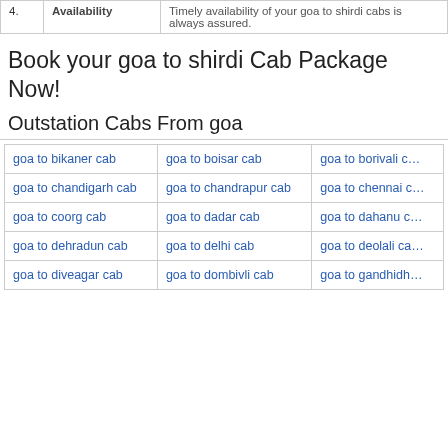| # | Availability | Description |
| --- | --- | --- |
| 4 | Availability | Timely availability of your goa to shirdi cabs is always assured. |
Book your goa to shirdi Cab Package Now!
Outstation Cabs From goa
| goa to bikaner cab | goa to boisar cab | goa to borivali cab |
| goa to chandigarh cab | goa to chandrapur cab | goa to chennai cab |
| goa to coorg cab | goa to dadar cab | goa to dahanu cab |
| goa to dehradun cab | goa to delhi cab | goa to deolali cab |
| goa to diveagar cab | goa to dombivli cab | goa to gandhidham cab |